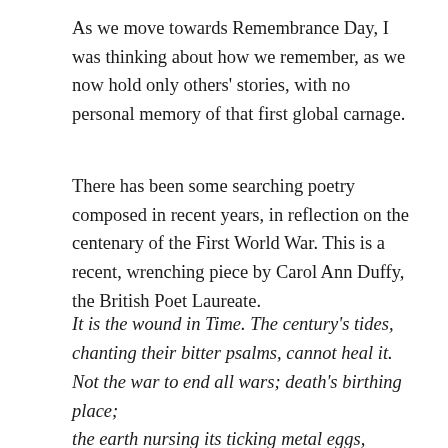As we move towards Remembrance Day, I was thinking about how we remember, as we now hold only others' stories, with no personal memory of that first global carnage.
There has been some searching poetry composed in recent years, in reflection on the centenary of the First World War. This is a recent, wrenching piece by Carol Ann Duffy, the British Poet Laureate.
It is the wound in Time. The century's tides, chanting their bitter psalms, cannot heal it. Not the war to end all wars; death's birthing place; the earth nursing its ticking metal eggs, hatching new carnage. But how could you know, brave as belief as you boarded the boats, singing? The end of God in the poisonous, shrappelled air.